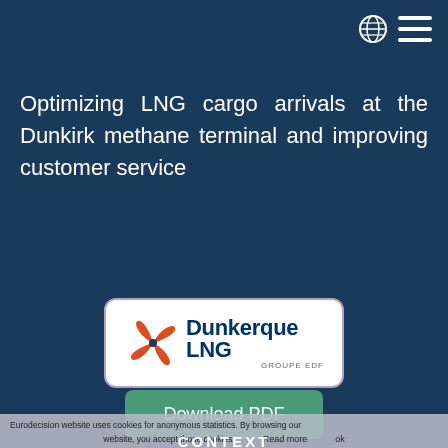Navigation icons (globe and hamburger menu)
Optimizing LNG cargo arrivals at the Dunkirk methane terminal and improving customer service
[Figure (logo): Dunkerque LNG - Groupe EDF logo: orange pinwheel/fan icon with dark blue text 'Dunkerque LNG' and smaller text 'GROUPE EDF', in a white rounded rectangle with light purple border]
Download PDF
Eurodecision website uses cookies for anonymous statistics. By browsing our website, you accept those cookies. Read more ok
CONTEXT